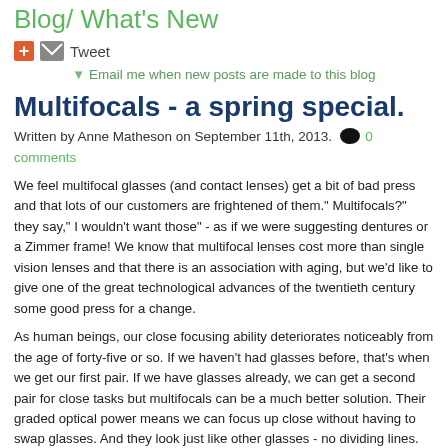Blog/ What's New
+ ✉ Tweet
▼ Email me when new posts are made to this blog
Multifocals - a spring special.
Written by Anne Matheson on September 11th, 2013.  💬 0 comments
We feel multifocal glasses (and contact lenses) get a bit of bad press and that lots of our customers are frightened of them." Multifocals?" they say," I wouldn't want those" - as if we were suggesting dentures or a Zimmer frame! We know that multifocal lenses cost more than single vision lenses and that there is an association with aging, but we'd like to give one of the great technological advances of the twentieth century some good press for a change.
As human beings, our close focusing ability deteriorates noticeably from the age of forty-five or so. If we haven't had glasses before, that's when we get our first pair. If we have glasses already, we can get a second pair for close tasks but multifocals can be a much better solution. Their graded optical power means we can focus up close without having to swap glasses. And they look just like other glasses - no dividing lines. No-one else is going to know if they are multifocals or not. There are a few things to get used to, but we can talk you though those.